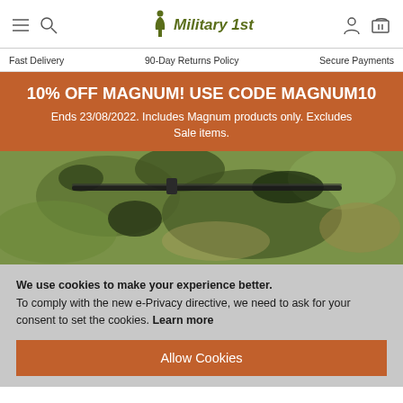Military 1st — navigation with hamburger menu, search, account, cart icons
Fast Delivery   90-Day Returns Policy   Secure Payments
10% OFF MAGNUM! USE CODE MAGNUM10
Ends 23/08/2022. Includes Magnum products only. Excludes Sale items.
[Figure (photo): Close-up of a military-style multicam camouflage bag/pouch with zipper]
We use cookies to make your experience better. To comply with the new e-Privacy directive, we need to ask for your consent to set the cookies. Learn more
Allow Cookies